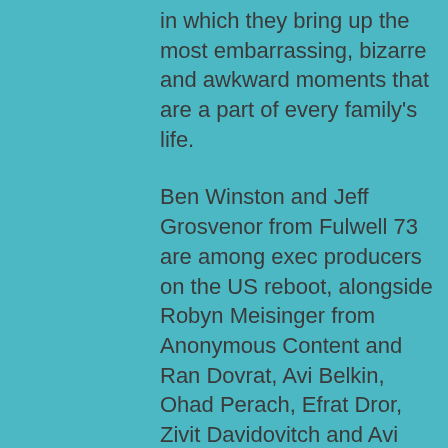…each episode is a new situation in which they bring up the most embarrassing, bizarre and awkward moments that are a part of every family's life.
Ben Winston and Jeff Grosvenor from Fulwell 73 are among exec producers on the US reboot, alongside Robyn Meisinger from Anonymous Content and Ran Dovrat, Avi Belkin, Ohad Perach, Efrat Dror, Zivit Davidovitch and Avi Armoza.
Sharon Levi, head of sales at Armoza, said: “CBS feels like the natural home for a family comedy like La Famiglia and with her extensive experience, Liz Astrof is the perfect writer for the project.”